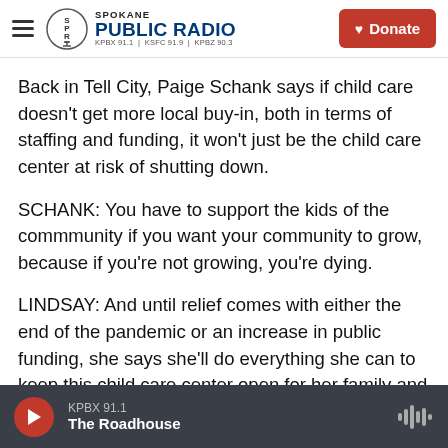Spokane Public Radio — KPBX 91.1 | KSFC 91.9 | KPBZ 90.3 | Donate
Back in Tell City, Paige Schank says if child care doesn't get more local buy-in, both in terms of staffing and funding, it won't just be the child care center at risk of shutting down.
SCHANK: You have to support the kids of the commmunity if you want your community to grow, because if you're not growing, you're dying.
LINDSAY: And until relief comes with either the end of the pandemic or an increase in public funding, she says she'll do everything she can to keep this child care center open for her family and others
KPBX 91.1 — The Roadhouse